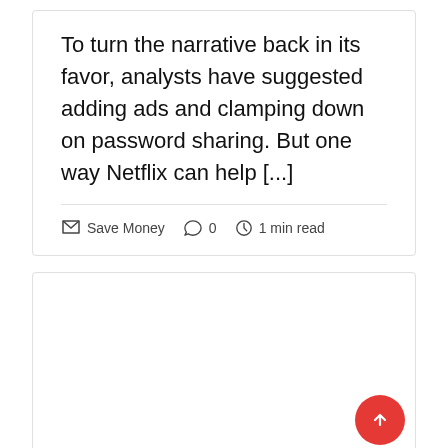To turn the narrative back in its favor, analysts have suggested adding ads and clamping down on password sharing. But one way Netflix can help [...]
Save Money  0  1 min read